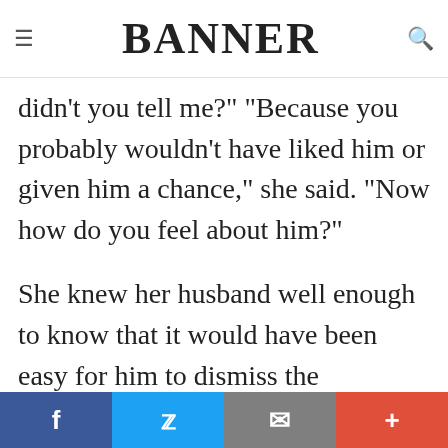BANNER
didn’t you tell me?” “Because you probably wouldn’t have liked him or given him a chance,” she said. “Now how do you feel about him?”
She knew her husband well enough to know that it would have been easy for him to dismiss the possibility of developing a relationship with a minister. His past experiences with Christians, and clergy in particular, would have ruled out any kind of friendship. He just wasn’t ready to go